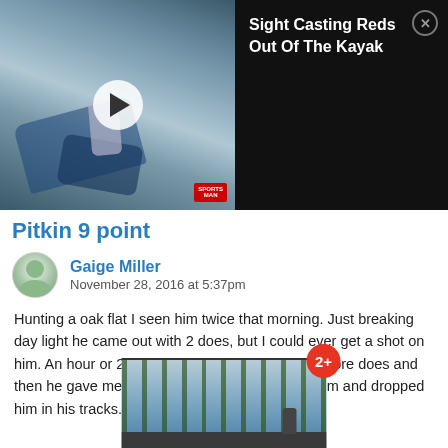[Figure (screenshot): A video thumbnail showing hands holding a fishing rod/reel, with a play button overlay. Adjacent black panel shows video title 'Sight Casting Reds Out Of The Kayak' with a close button.]
Pitkin 9 point
Gaige Miller
November 28, 2016 at 5:37pm
Hunting a oak flat I seen him twice that morning. Just breaking day light he came out with 2 does, but I could ever get a shot on him. An hour or 2 later he came back out with 2 more does and then he gave me a chance broad side smoked him and dropped him in his tracks.
[Figure (photo): A partially visible outdoor photo showing trees and what appears to be a hunting scene. A red badge with '2+' is shown in the corner.]